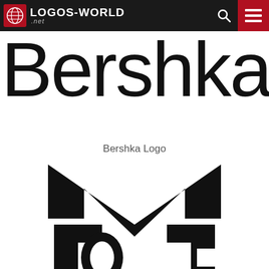LOGOS-WORLD .net
Bershka
Bershka Logo
[Figure (logo): DC Shoes logo — partial view showing the top portion of the DC star-and-letters logo in black on white background]